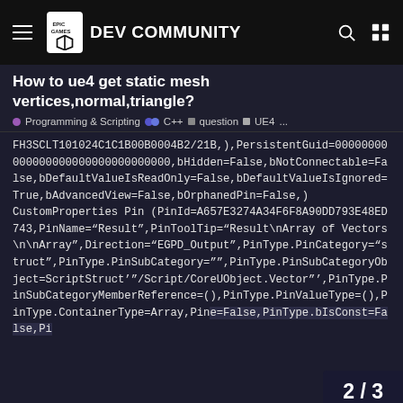Epic Games Dev Community
How to ue4 get static mesh vertices,normal,triangle?
● Programming & Scripting  ●● C++  ■ question  ■ UE4  ...
FH3DCLT101024C1C1B00B0004B2/21B,),PersistentGuid=00000000000000000000000000000000,bHidden=False,bNotConnectable=False,bDefaultValueIsReadOnly=False,bDefaultValueIsIgnored=True,bAdvancedView=False,bOrphanedPin=False,)
CustomProperties Pin (PinId=A657E3274A34F6F8A90DD793E48ED743,PinName="Result",PinToolTip="Result\nArray of Vectors\n\nArray",Direction="EGPD_Output",PinType.PinCategory="struct",PinType.PinSubCategory="",PinType.PinSubCategoryObject=ScriptStruct'"/Script/CoreUObject.Vector"',PinType.PinSubCategoryMemberReference=(),PinType.PinValueType=(),PinType.ContainerType=Array,PinType.bIsReference=False,PinType.bIsConst=False,Pin
2 / 3